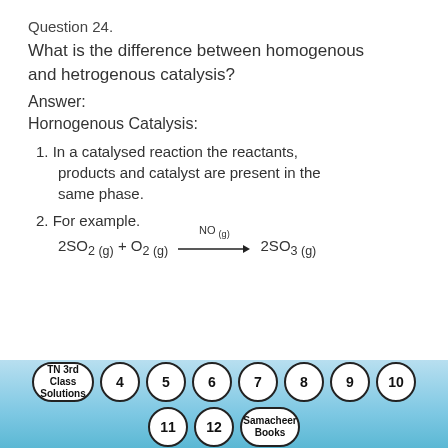Question 24.
What is the difference between homogenous and hetrogenous catalysis?
Answer:
Hornogenous Catalysis:
1. In a catalysed reaction the reactants, products and catalyst are present in the same phase.
2. For example.
TN 3rd Class Solutions | 4 | 5 | 6 | 7 | 8 | 9 | 10 | 11 | 12 | Samacheer Books